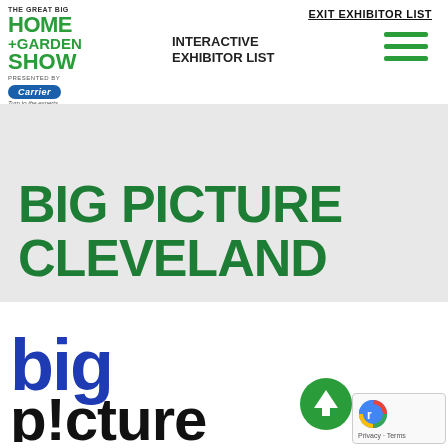[Figure (logo): The Great Big Home + Garden Show presented by Carrier logo]
EXIT EXHIBITOR LIST
INTERACTIVE EXHIBITOR LIST
[Figure (illustration): Hamburger menu icon with three green horizontal lines]
BIG PICTURE CLEVELAND
[Figure (logo): Big Picture Cleveland company logo with 'big picture' text in blue/black bold lowercase]
[Figure (other): Green circular scroll-to-top button with up arrow]
[Figure (other): Google reCAPTCHA badge with Privacy and Terms links]